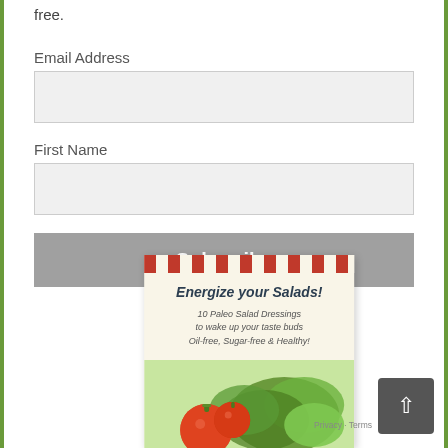free.
Email Address
First Name
Subscribe
[Figure (illustration): Book cover for 'Energize your Salads! - 10 Paleo Salad Dressings to wake up your taste buds, Oil-free, Sugar-free & Healthy!' with red checkered border at top and a salad/tomato photo at bottom.]